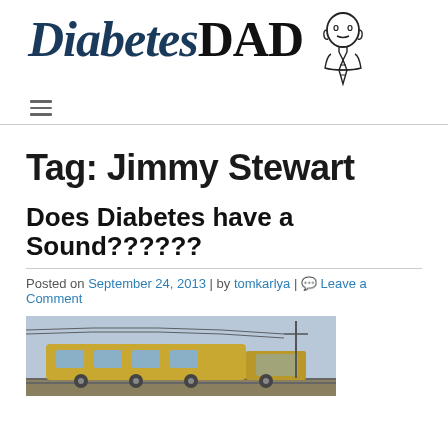[Figure (logo): DiabetesDAD logo with bold text and illustrated man in tie figure on the right]
DiabetesDAD
Tag: Jimmy Stewart
Does Diabetes have a Sound??????
Posted on September 24, 2013 | by tomkarlya | Leave a Comment
[Figure (photo): Photo of a yellow locomotive train on tracks]